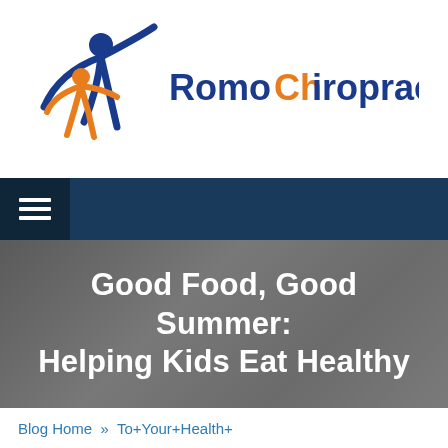[Figure (logo): Romo Chiropractic logo with two stylized human figures in blue and orange, and the text 'Romo Chiropractic' in blue and orange]
Navigation bar with hamburger menu icon
Good Food, Good Summer: Helping Kids Eat Healthy
Blog Home  »  To+Your+Health+